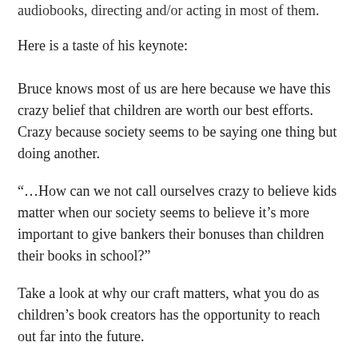audiobooks, directing and/or acting in most of them.
Here is a taste of his keynote:
Bruce knows most of us are here because we have this crazy belief that children are worth our best efforts. Crazy because society seems to be saying one thing but doing another.
“…How can we not call ourselves crazy to believe kids matter when our society seems to believe it’s more important to give bankers their bonuses than children their books in school?”
Take a look at why our craft matters, what you do as children’s book creators has the opportunity to reach out far into the future.
“Our children are in crisis, and not just the ones at the border in cages… Children are told they’re important as consumers, that they should buy things, but we’re not giving them anything that feeds their hearts.”
Bruce reads a fan letter to us, from a boy who’d read all of Bruce’s books as a kid, and how they shaped the person Bruce taught to